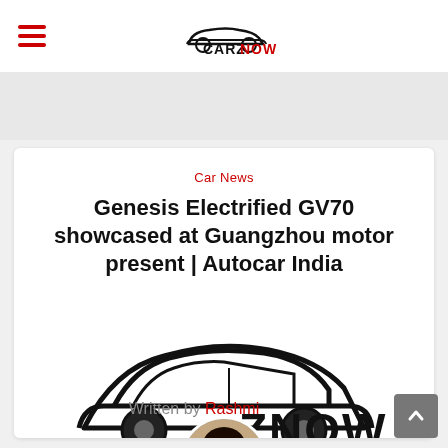CARZNOW (logo/navigation header)
Car News
Genesis Electrified GV70 showcased at Guangzhou motor present | Autocar India
[Figure (logo): CarzNow logo showing a car silhouette with text CARZNOW, overlaid with a circular author photo of Rashmi]
Written by Rashmi